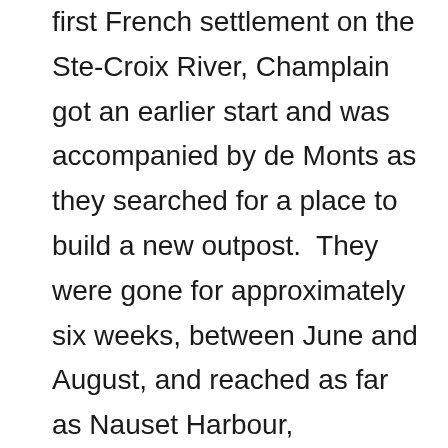first French settlement on the Ste-Croix River, Champlain got an earlier start and was accompanied by de Monts as they searched for a place to build a new outpost.  They were gone for approximately six weeks, between June and August, and reached as far as Nauset Harbour, Massachusetts – which Champlain called Malle barre on account of a sand bar blocking the harbour. By the end of this trip de Monts decided not to move further south, but instead moved the outpost at Ste-Croix to the previously scouted Port Royal in the Annapolis Basin.  From there in September 1606 Champlain took his last voyage down the Norumbegan coast, but covered little